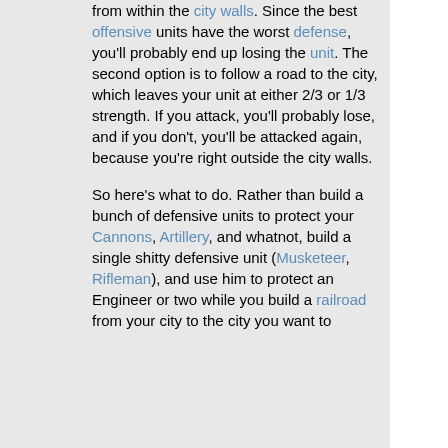from within the city walls. Since the best offensive units have the worst defense, you'll probably end up losing the unit. The second option is to follow a road to the city, which leaves your unit at either 2/3 or 1/3 strength. If you attack, you'll probably lose, and if you don't, you'll be attacked again, because you're right outside the city walls.
So here's what to do. Rather than build a bunch of defensive units to protect your Cannons, Artillery, and whatnot, build a single shitty defensive unit (Musketeer, Rifleman), and use him to protect an Engineer or two while you build a railroad from your city to the city you want to